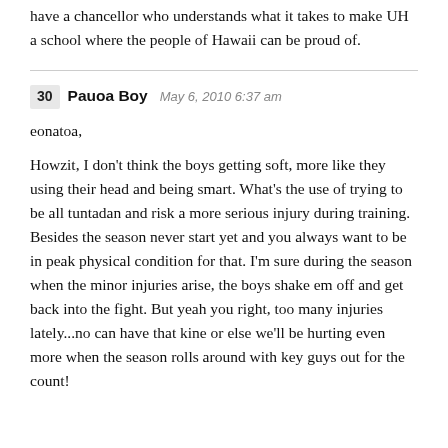have a chancellor who understands what it takes to make UH a school where the people of Hawaii can be proud of.
eonatoa,
Howzit, I don't think the boys getting soft, more like they using their head and being smart. What's the use of trying to be all tuntadan and risk a more serious injury during training. Besides the season never start yet and you always want to be in peak physical condition for that. I'm sure during the season when the minor injuries arise, the boys shake em off and get back into the fight. But yeah you right, too many injuries lately...no can have that kine or else we'll be hurting even more when the season rolls around with key guys out for the count!